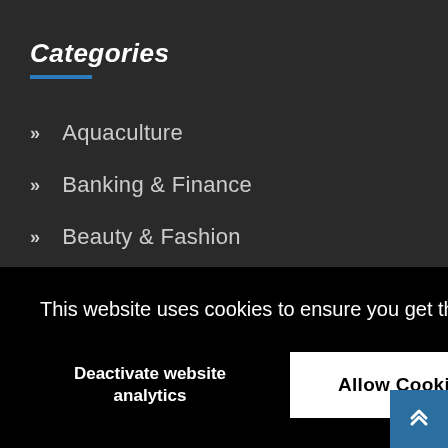Categories
Aquaculture
Banking & Finance
Beauty & Fashion
Business
Conferences
This website uses cookies to ensure you get the best experience on our website.
Deactivate website analytics
Allow Cookies